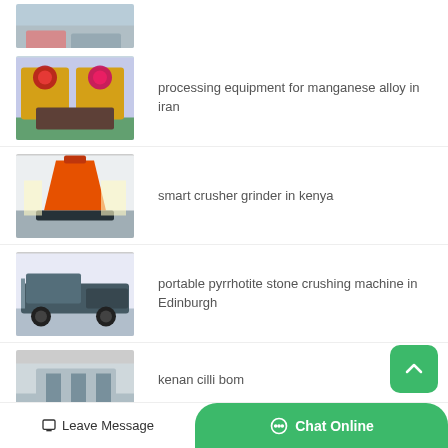[Figure (photo): Partially visible industrial equipment photo at top]
[Figure (photo): Jaw crusher machines in a warehouse]
processing equipment for manganese alloy in iran
[Figure (photo): Large orange cone crusher in industrial hall]
smart crusher grinder in kenya
[Figure (photo): Mobile stone crushing plant on wheels]
portable pyrrhotite stone crushing machine in Edinburgh
[Figure (photo): Industrial machinery partially visible]
kenan cilli bom
Leave Message    Chat Online